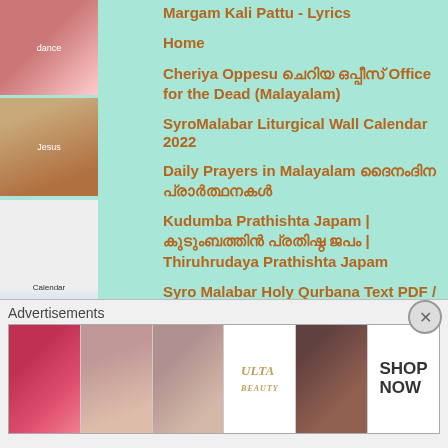[Figure (photo): Thumbnail of people dancing in traditional costumes]
[Figure (photo): Thumbnail of Jesus Christ portrait]
[Figure (photo): Thumbnail of a liturgical wall calendar]
[Figure (photo): Thumbnail of a saint figure]
[Figure (photo): Thumbnail of Sacred Heart of Jesus]
[Figure (logo): PDF icon/logo]
Margam Kali Pattu - Lyrics
Home
Cheriya Oppesu ചെറിയ ഒപ്പീസ് Office for the Dead (Malayalam)
SyroMalabar Liturgical Wall Calendar 2022
Daily Prayers in Malayalam ദൈനംദിന പ്രാര്‍ത്ഥനകള്‍
Kudumba Prathishta Japam | കുടുംബത്തിന്‍ പ്രതിഷ്ഠ ജപം | Thiruhrudaya Prathishta Japam
Syro Malabar Holy Qurbana Text PDF / Holy Mass Text Malayalam / ഖുര്‍ബാന ഗ്രന്ഥം
Advertisements
[Figure (screenshot): Ulta Beauty advertisement banner showing makeup products]